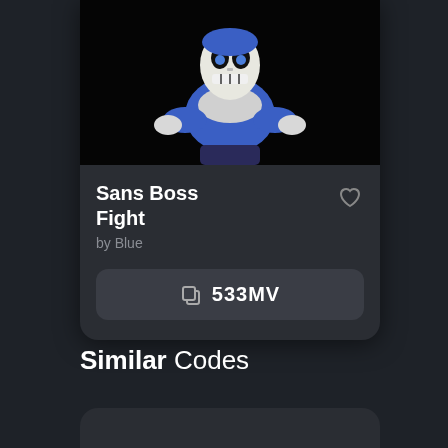[Figure (screenshot): Screenshot of a game code card showing a Sans (Undertale character) Boss Fight entry with a dark card UI, black image background with the character, title 'Sans Boss Fight', author 'by Blue', and a copy code button showing '533MV']
Sans Boss Fight
by Blue
533MV
Similar Codes
[Figure (screenshot): Partial bottom card stub visible at the bottom of the page, cut off]